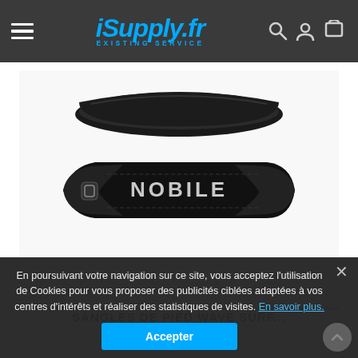iSupply.fr - EXISTING SERVICE
[Figure (photo): Product photo of NOBILE wave surf foot straps - black neoprene straps with silver NOBILE logo, viewed from above on white background]
SANGLES DE PIED WAVE SURF...
59,00 €
[Figure (other): Three action buttons in parallelogram shapes with blue outlines: shopping bag icon, magnifying glass/search icon, and eye/view icon]
En poursuivant votre navigation sur ce site, vous acceptez l'utilisation de Cookies pour vous proposer des publicités ciblées adaptées à vos centres d'intérêts et réaliser des statistiques de visites. En savoir plus.
Accepter